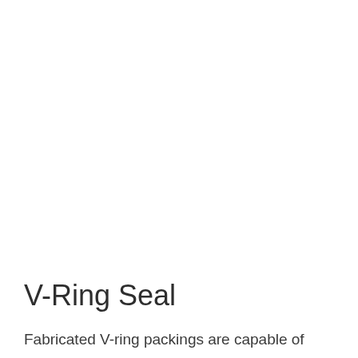V-Ring Seal
Fabricated V-ring packings are capable of